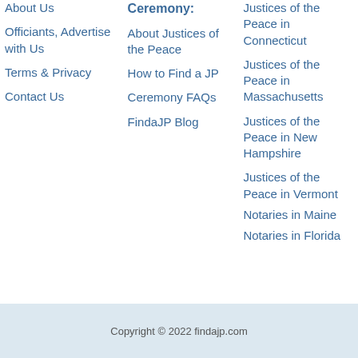About Us
Officiants, Advertise with Us
Terms & Privacy
Contact Us
Ceremony:
About Justices of the Peace
How to Find a JP
Ceremony FAQs
FindaJP Blog
Justices of the Peace in Connecticut
Justices of the Peace in Massachusetts
Justices of the Peace in New Hampshire
Justices of the Peace in Vermont
Notaries in Maine
Notaries in Florida
Copyright © 2022 findajp.com